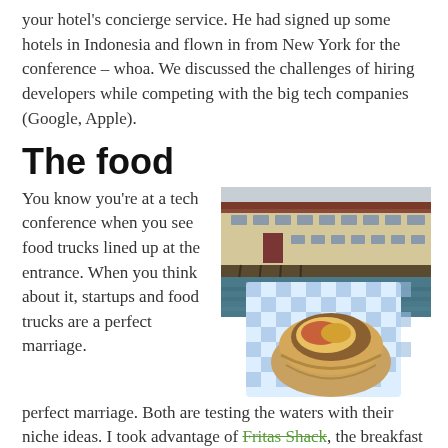your hotel's concierge service. He had signed up some hotels in Indonesia and flown in from New York for the conference – whoa. We discussed the challenges of hiring developers while competing with the big tech companies (Google, Apple).
The food
You know you're at a tech conference when you see food trucks lined up at the entrance. When you think about it, startups and food trucks are a perfect marriage. Both are testing the waters with their niche ideas. I took advantage of Fritas Shack, the breakfast pop-up serving San Diego style breakfast burrito. It was excellent.
[Figure (photo): Photo of a waterfront warehouse building next to water, with a burrito wrapped in blue checkered paper in the foreground]